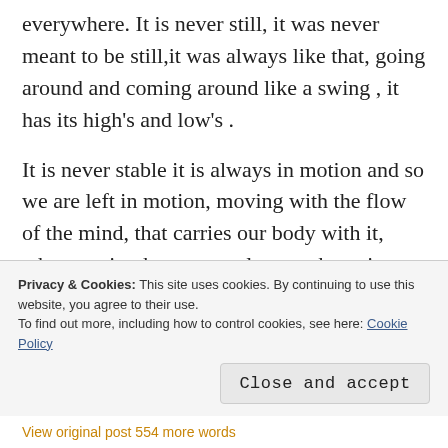everywhere. It is never still, it was never meant to be still,it was always like that, going around and coming around like a swing , it has its high's and low's .

It is never stable it is always in motion and so we are left in motion, moving with the flow of the mind, that carries our body with it, wherever it takes we go along, unknowing what it has to offer but we still go because after all its our mind that tells us and that
Privacy & Cookies: This site uses cookies. By continuing to use this website, you agree to their use.
To find out more, including how to control cookies, see here: Cookie Policy
Close and accept
View original post 554 more words